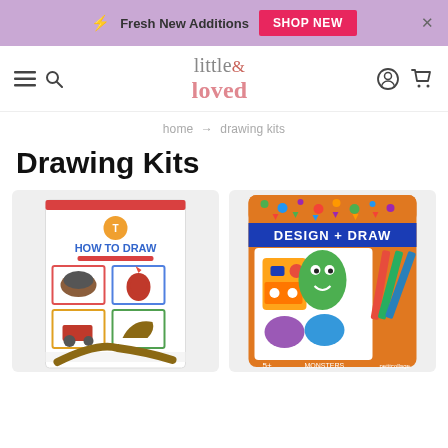Fresh New Additions  SHOP NEW
[Figure (logo): little & loved brand logo with stylized text]
home → drawing kits
Drawing Kits
[Figure (photo): Tiger Tribe 'How To Draw' kit showing farm animals including horse, cow, rooster, and tractor]
[Figure (photo): Petit Collage 'Design + Draw Monsters' kit showing colorful monster characters with pencils, age 5+]